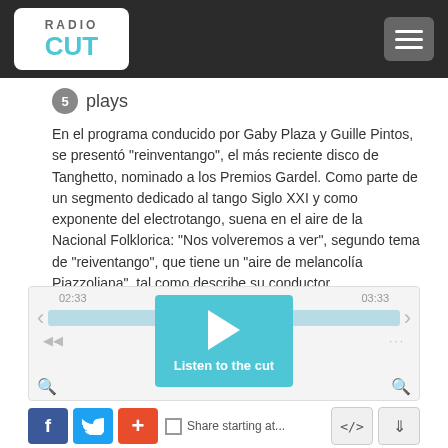RADIO CUT
5 plays
En el programa conducido por Gaby Plaza y Guille Pintos, se presentó "reinventango", el más reciente disco de Tanghetto, nominado a los Premios Gardel. Como parte de un segmento dedicado al tango Siglo XXI y como exponente del electrotango, suena en el aire de la Nacional Folklorica: "Nos volveremos a ver", segundo tema de "reiventango", que tiene un "aire de melancolía Piazzoliana", tal como describe su conductor.
[Figure (screenshot): Audio player widget with play button, progress bar, timestamps 02:33 and 03:33, navigation arrows, and 'Listen to the cut' label]
[Figure (infographic): Social share bar with Facebook, Twitter, Google+ buttons and Share starting at... option, plus embed and download buttons]
Tags: electrotango  musica  nominados  nuevo disco  piazzolla  premios gardel  presentacion  tango  tango electrónico  tango siglo xxi